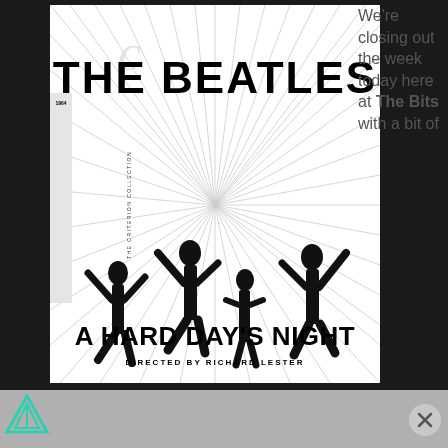[Figure (illustration): Criterion Collection Blu-ray/DVD cover for 'A Hard Day's Night' by The Beatles, directed by Richard Lester. Black and white design with radiating lines and four Beatles members jumping/posing. Large bold text 'THE BEATLES' at top, 'A HARD DAY'S NIGHT' at bottom, 'DIRECTED BY RICHARD LESTER' subtitle. Criterion Collection spine on left side with 1964 year.]
We're closing out the week today here at The Bits with a bit of
[Figure (logo): Teal/green triangular geometric logo in bottom left corner]
[Figure (other): Gray circular close/X button in bottom right corner]